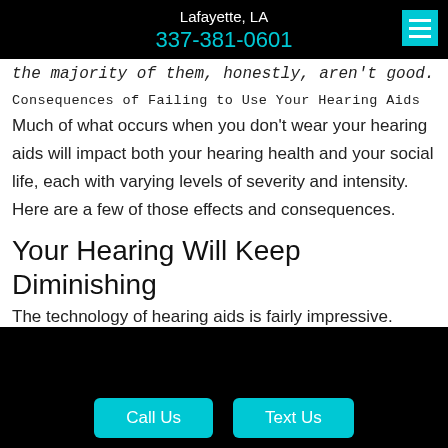Lafayette, LA
337-381-0601
the majority of them, honestly, aren't good.
Consequences of Failing to Use Your Hearing Aids
Much of what occurs when you don't wear your hearing aids will impact both your hearing health and your social life, each with varying levels of severity and intensity. Here are a few of those effects and consequences.
Your Hearing Will Keep Diminishing
The technology of hearing aids is fairly impressive.
Call Us   Text Us